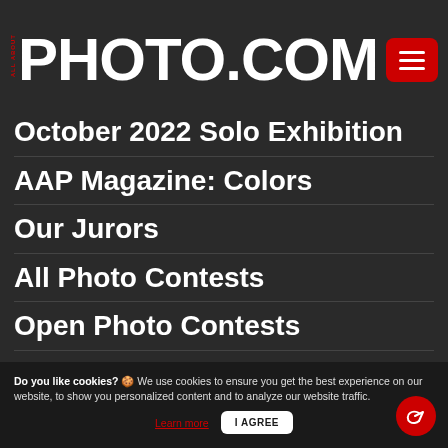ALL ABOUT PHOTO.COM
October 2022 Solo Exhibition
AAP Magazine: Colors
Our Jurors
All Photo Contests
Open Photo Contests
Amateur Photo Contests
Professional Photo Contests
Do you like cookies? 🍪 We use cookies to ensure you get the best experience on our website, to show you personalized content and to analyze our website traffic. Learn more  I AGREE